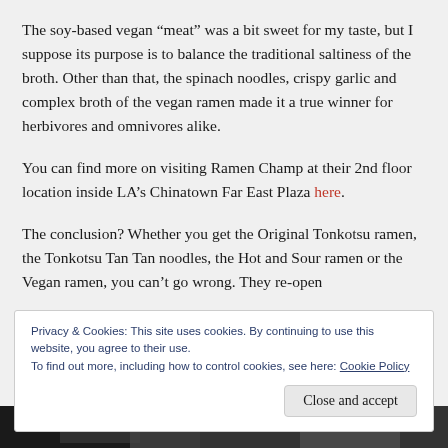The soy-based vegan “meat” was a bit sweet for my taste, but I suppose its purpose is to balance the traditional saltiness of the broth. Other than that, the spinach noodles, crispy garlic and complex broth of the vegan ramen made it a true winner for herbivores and omnivores alike.
You can find more on visiting Ramen Champ at their 2nd floor location inside LA’s Chinatown Far East Plaza here.
The conclusion? Whether you get the Original Tonkotsu ramen, the Tonkotsu Tan Tan noodles, the Hot and Sour ramen or the Vegan ramen, you can’t go wrong. They re-open
Privacy & Cookies: This site uses cookies. By continuing to use this website, you agree to their use.
To find out more, including how to control cookies, see here: Cookie Policy
Close and accept
[Figure (photo): Bottom strip showing a dark photo of food]